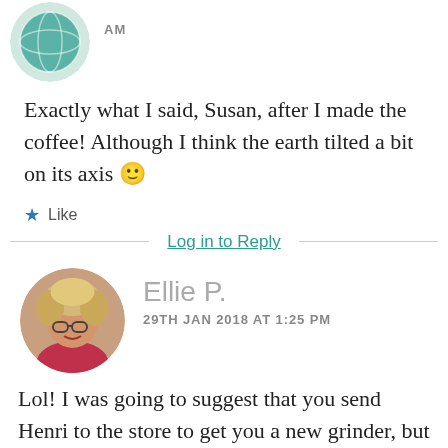[Figure (photo): Circular avatar image — appears to be a globe/earth icon with teal coloring]
AM
Exactly what I said, Susan, after I made the coffee! Although I think the earth tilted a bit on its axis 🙂
★ Like
Log in to Reply
[Figure (photo): Circular avatar photo of a woman with curly blonde/gray hair and glasses, wearing a pink top]
Ellie P.
29TH JAN 2018 AT 1:25 PM
Lol! I was going to suggest that you send Henri to the store to get you a new grinder, but I see you worked